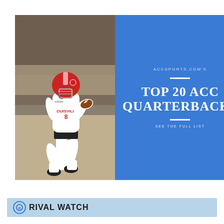[Figure (infographic): Sports infographic showing a Louisville football player (#8) in white uniform running with the ball, against a blue panel with text 'ACCSPORTS.COM'S TOP 20 ACC QUARTERBACKS - SEE THE FULL LIST']
RIVAL WATCH